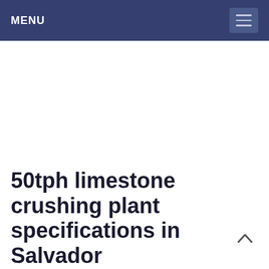MENU
50tph limestone crushing plant specifications in Salvador